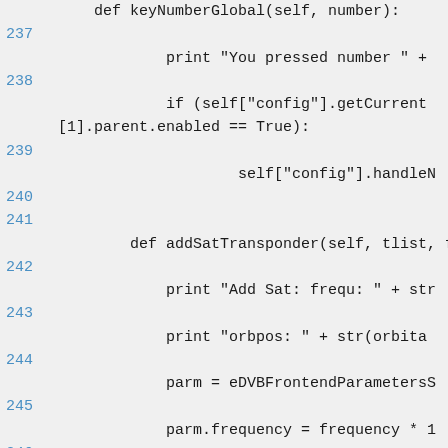def keyNumberGlobal(self, number):
237
print "You pressed number " +
238
if (self["config"].getCurrent[1].parent.enabled == True):
239
self["config"].handleN
240
241
def addSatTransponder(self, tlist, fr
242
print "Add Sat: frequ: " + str
243
print "orbpos: " + str(orbita
244
parm = eDVBFrontendParametersS
245
parm.frequency = frequency * 1
246